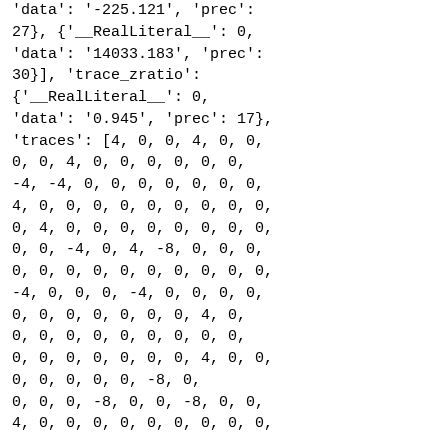'data': '-225.121', 'prec': 27}, {'__RealLiteral__': 0, 'data': '14033.183', 'prec': 30}], 'trace_zratio': {'__RealLiteral__': 0, 'data': '0.945', 'prec': 17}, 'traces': [4, 0, 0, 4, 0, 0, 0, 0, 4, 0, 0, 0, 0, 0, 0, -4, -4, 0, 0, 0, 0, 0, 0, 0, 4, 0, 0, 0, 0, 0, 0, 0, 0, 0, 0, 4, 0, 0, 0, 0, 0, 0, 0, 0, 0, 0, -4, 0, 4, -8, 0, 0, 0, 0, 0, 0, 0, 0, 0, 0, 0, 0, 0, -4, 0, 0, 0, -4, 0, 0, 0, 0, 0, 0, 0, 0, 0, 0, 0, 4, 0, 0, 0, 0, 0, 0, 0, 0, 0, 0, 0, 0, 0, 0, 0, 0, 0, 0, 0, 4, 0, 0, 0, 0, 0, 0, 0, -8, 0, 0, 0, 0, -8, 0, 0, -8, 0, 0, 4, 0, 0, 0, 0, 0, 0, 0, 0, 0,